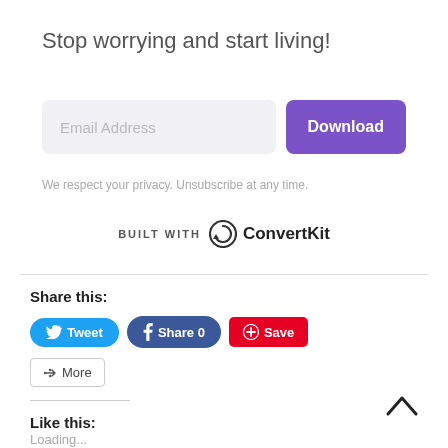Stop worrying and start living!
Email Address
Download
We respect your privacy. Unsubscribe at any time.
[Figure (logo): BUILT WITH ConvertKit logo with circular arrow icon]
Share this:
Tweet
Share 0
Save
More
Like this:
Loading...